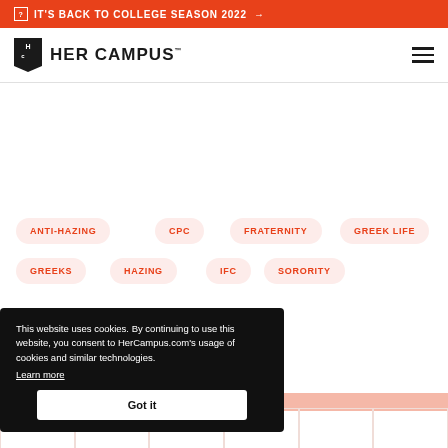IT'S BACK TO COLLEGE SEASON 2022 →
[Figure (logo): HerCampus logo with HC monogram and brand name]
ANTI-HAZING
CPC
FRATERNITY
GREEK LIFE
GREEKS
HAZING
IFC
SORORITY
This website uses cookies. By continuing to use this website, you consent to HerCampus.com's usage of cookies and similar technologies. Learn more
Got it